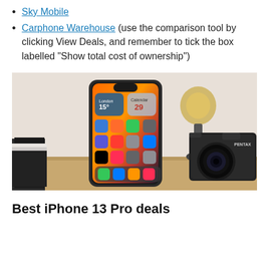Sky Mobile
Carphone Warehouse (use the comparison tool by clicking View Deals, and remember to tick the box labelled “Show total cost of ownership”)
[Figure (photo): An iPhone 13 Pro standing upright on a wooden desk surface, displaying its home screen with colorful app icons and widgets. In the background to the left are stacked books, and to the right is a round Edison-style lamp and a black Pentax film camera.]
Best iPhone 13 Pro deals